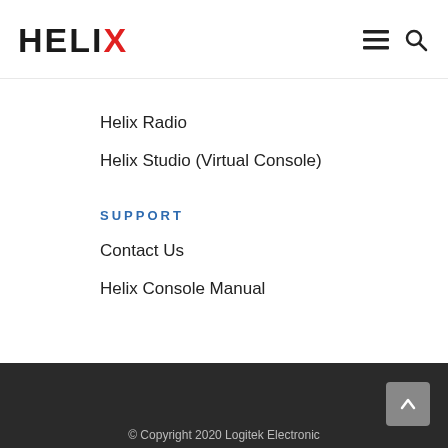[Figure (logo): HELIX logo with black text and red X letter]
[Figure (other): Menu hamburger icon and search magnifier icon in header]
Helix Radio
Helix Studio (Virtual Console)
SUPPORT
Contact Us
Helix Console Manual
© Copyright 2020 Logitek Electronic